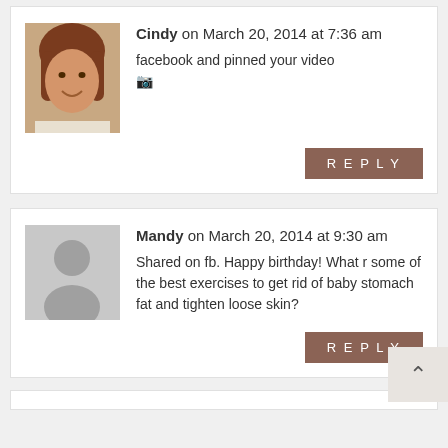[Figure (photo): Profile photo of Cindy, a woman with reddish-brown hair, smiling]
Cindy on March 20, 2014 at 7:36 am
facebook and pinned your video 🎬
REPLY
[Figure (illustration): Generic grey avatar placeholder silhouette]
Mandy on March 20, 2014 at 9:30 am
Shared on fb. Happy birthday! What r some of the best exercises to get rid of baby stomach fat and tighten loose skin?
REPLY